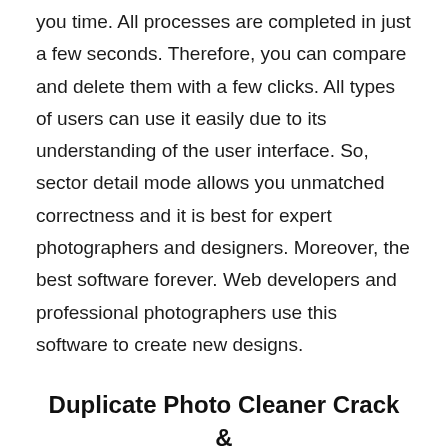you time. All processes are completed in just a few seconds. Therefore, you can compare and delete them with a few clicks. All types of users can use it easily due to its understanding of the user interface. So, sector detail mode allows you unmatched correctness and it is best for expert photographers and designers. Moreover, the best software forever. Web developers and professional photographers use this software to create new designs.
Duplicate Photo Cleaner Crack & Serial Key
Duplicate Photo Cleaner License Key is related to degree application wont to find photographs that contain copies in relating degree coordinator on your workstation. As insignificant, the utility continues running on the